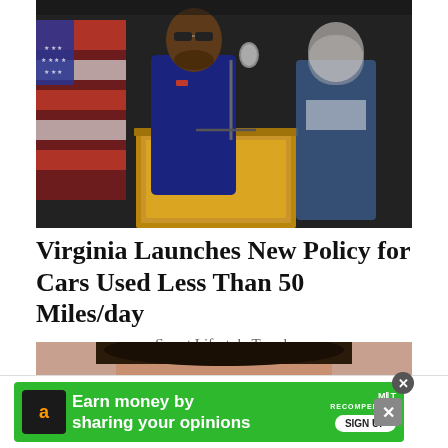[Figure (photo): A police officer in dark uniform with sunglasses speaking at a wooden podium with a microphone. An American flag is visible in the background on the left. Another person in a suit stands to the right, face blurred.]
Virginia Launches New Policy for Cars Used Less Than 50 Miles/day
Smart Lifestyle Trends
[Figure (photo): Partial view of a person's face and shoulder, close-up, with dark hair visible at top.]
Earn money by sharing your opinions